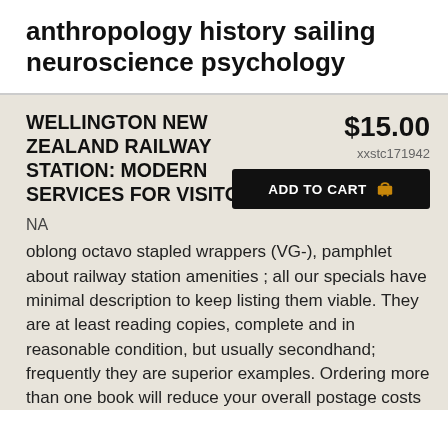anthropology history sailing neuroscience psychology
WELLINGTON NEW ZEALAND RAILWAY STATION: MODERN SERVICES FOR VISITORS
$15.00
xxstc171942
ADD TO CART
NA
oblong octavo stapled wrappers (VG-), pamphlet about railway station amenities ; all our specials have minimal description to keep listing them viable. They are at least reading copies, complete and in reasonable condition, but usually secondhand; frequently they are superior examples. Ordering more than one book will reduce your overall postage costs